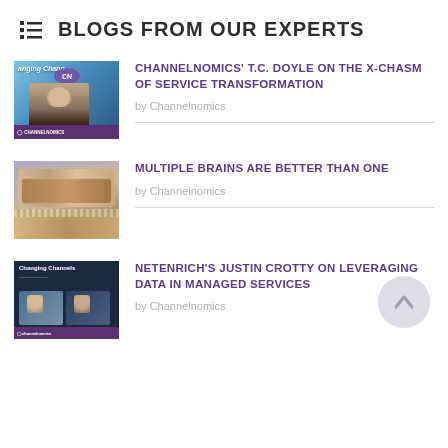BLOGS FROM OUR EXPERTS
[Figure (photo): Thumbnail image for Channelnomics blog post showing a man in front of channel-themed background with Channelnomics logo]
CHANNELNOMICS' T.C. DOYLE ON THE X-CHASM OF SERVICE TRANSFORMATION
by Channelnomics
[Figure (photo): Thumbnail image showing multiple hands stacked together in a teamwork gesture]
MULTIPLE BRAINS ARE BETTER THAN ONE
by Channelnomics
[Figure (photo): Thumbnail image for Changing Channels video episode with two people visible]
NETENRICH'S JUSTIN CROTTY ON LEVERAGING DATA IN MANAGED SERVICES
by Channelnomics